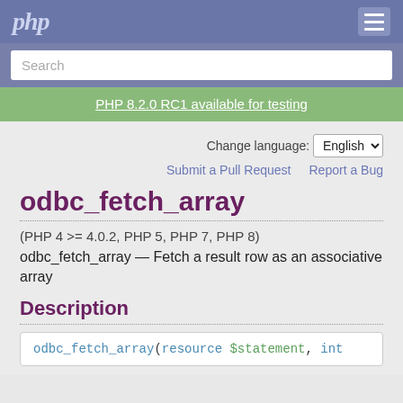php
Search
PHP 8.2.0 RC1 available for testing
Change language: English
Submit a Pull Request   Report a Bug
odbc_fetch_array
(PHP 4 >= 4.0.2, PHP 5, PHP 7, PHP 8)
odbc_fetch_array — Fetch a result row as an associative array
Description
odbc_fetch_array(resource $statement, int